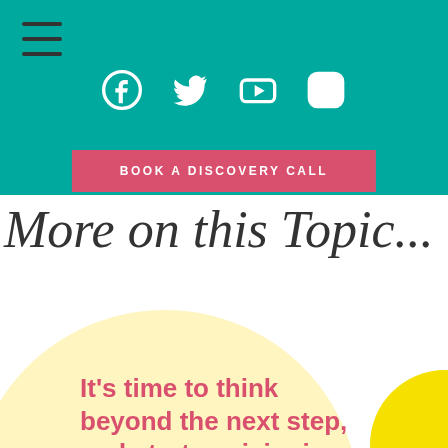[Figure (screenshot): Teal navigation header with hamburger menu icon, four social media icons (Facebook, Twitter, YouTube, Instagram) in white, and a pink 'BOOK A DISCOVERY CALL' button]
More on this Topic...
[Figure (illustration): Large pale yellow circle with a bright yellow crescent arc on the right side, and red/pink bold text reading: It's time to think beyond the next step, and start envisioning]